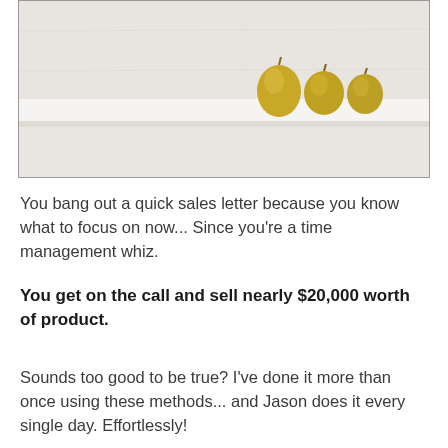[Figure (photo): A minimalist photo showing a white floating shelf against a light textured wall, with small decorative gourds/squashes resting on the shelf. The lower portion of the image shows the wall below the shelf.]
You bang out a quick sales letter because you know what to focus on now... Since you're a time management whiz.
You get on the call and sell nearly $20,000 worth of product.
Sounds too good to be true? I've done it more than once using these methods... and Jason does it every single day. Effortlessly!